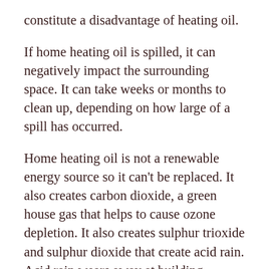constitute a disadvantage of heating oil.
If home heating oil is spilled, it can negatively impact the surrounding space. It can take weeks or months to clean up, depending on how large of a spill has occurred.
Home heating oil is not a renewable energy source so it can't be replaced. It also creates carbon dioxide, a green house gas that helps to cause ozone depletion. It also creates sulphur trioxide and sulphur dioxide that create acid rain. Acid rain wears away at building masonry, rocks and forests.
Oil furnaces require electricity to operate so the result will be an increase in your electric bill. You will also have to budget for oil